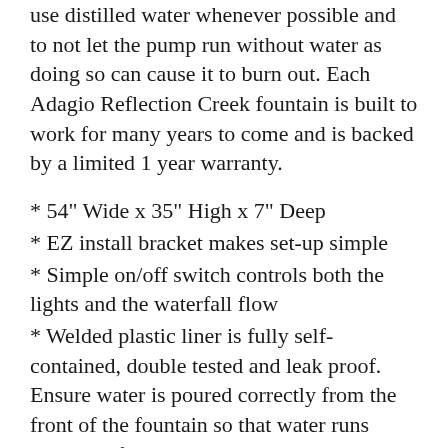use distilled water whenever possible and to not let the pump run without water as doing so can cause it to burn out. Each Adagio Reflection Creek fountain is built to work for many years to come and is backed by a limited 1 year warranty.
* 54" Wide x 35" High x 7" Deep
* EZ install bracket makes set-up simple
* Simple on/off switch controls both the lights and the waterfall flow
* Welded plastic liner is fully self-contained, double tested and leak proof. Ensure water is poured correctly from the front of the fountain so that water runs down the feature material and into the basin.
* The unique open copper water distribution unit system won't clog and has adjustable tabs to give even water flow across your waterfall.
* Only one cord plugs into the wall and is easily